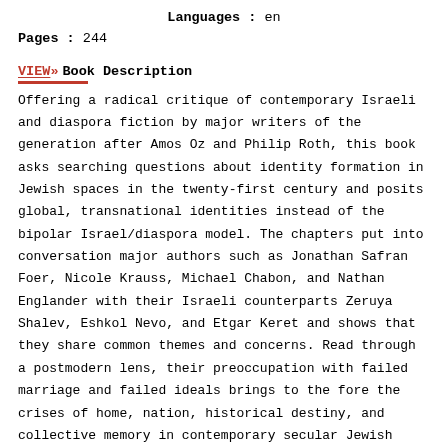Languages : en
Pages : 244
VIEW » Book Description
Offering a radical critique of contemporary Israeli and diaspora fiction by major writers of the generation after Amos Oz and Philip Roth, this book asks searching questions about identity formation in Jewish spaces in the twenty-first century and posits global, transnational identities instead of the bipolar Israel/diaspora model. The chapters put into conversation major authors such as Jonathan Safran Foer, Nicole Krauss, Michael Chabon, and Nathan Englander with their Israeli counterparts Zeruya Shalev, Eshkol Nevo, and Etgar Keret and shows that they share common themes and concerns. Read through a postmodern lens, their preoccupation with failed marriage and failed ideals brings to the fore the crises of home, nation, historical destiny, and collective memory in contemporary secular Jewish culture. At times provocative, at others iconoclastic, this innovative